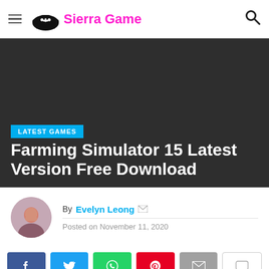Sierra Game
[Figure (screenshot): Dark hero image background with 'LATEST GAMES' badge and article title overlay]
Farming Simulator 15 Latest Version Free Download
By Evelyn Leong  Posted on November 11, 2020
[Figure (infographic): Social share buttons: Facebook, Twitter, WhatsApp, Pinterest, Email, Comment]